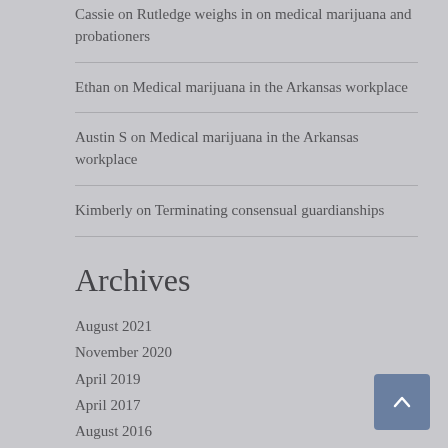Cassie on Rutledge weighs in on medical marijuana and probationers
Ethan on Medical marijuana in the Arkansas workplace
Austin S on Medical marijuana in the Arkansas workplace
Kimberly on Terminating consensual guardianships
Archives
August 2021
November 2020
April 2019
April 2017
August 2016
June 2016